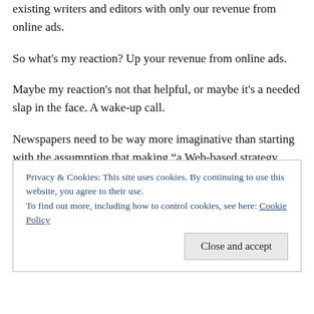existing writers and editors with only our revenue from online ads.
So what's my reaction? Up your revenue from online ads.
Maybe my reaction's not that helpful, or maybe it's a needed slap in the face. A wake-up call.
Newspapers need to be way more imaginative than starting with the assumption that making “a Web-based strategy profitable” must involve the fearsome numbers we see today. If you don’t like today’s numbers, change them.
Newspapers need to think about how they can quadruple
Privacy & Cookies: This site uses cookies. By continuing to use this website, you agree to their use.
To find out more, including how to control cookies, see here: Cookie Policy
Close and accept